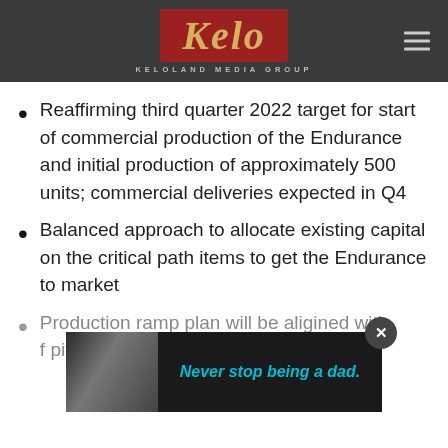KELOLAND MEDIA GROUP
Reaffirming third quarter 2022 target for start of commercial production of the Endurance and initial production of approximately 500 units; commercial deliveries expected in Q4
Balanced approach to allocate existing capital on the critical path items to get the Endurance to market
Production ramp plan will be aligned with [future] capital [raise efforts]
[Figure (photo): Advertisement overlay showing a black and white photo of people and text 'Never stop being a dad.' in teal]